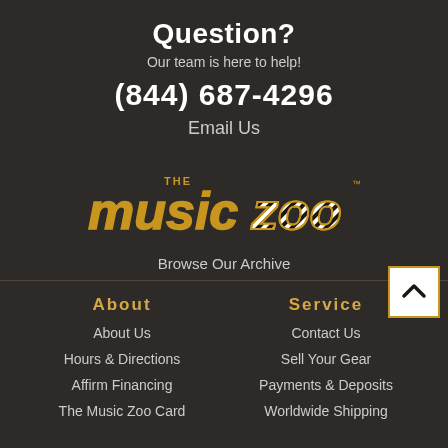Question?
Our team is here to help!
(844) 687-4296
Email Us
[Figure (logo): The Music Zoo logo with zebra-stripe pattern on the letters]
Browse Our Archive
About
Service
About Us
Contact Us
Hours & Directions
Sell Your Gear
Affirm Financing
Payments & Deposits
The Music Zoo Card
Worldwide Shipping